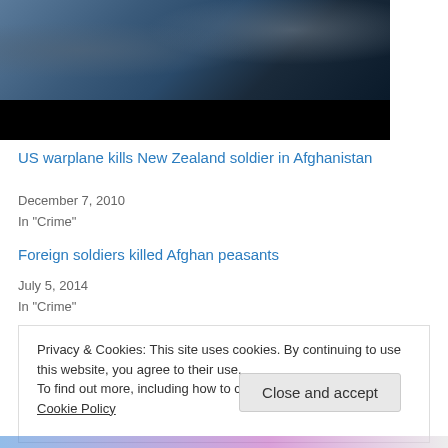[Figure (photo): Photograph of a car and a dark-silhouetted figure, with other vehicles visible in a parking area. Bottom portion is black.]
US warplane kills New Zealand soldier in Afghanistan
December 7, 2010
In "Crime"
Foreign soldiers killed Afghan peasants
July 5, 2014
In "Crime"
Privacy & Cookies: This site uses cookies. By continuing to use this website, you agree to their use.
To find out more, including how to control cookies, see here: Cookie Policy
Close and accept